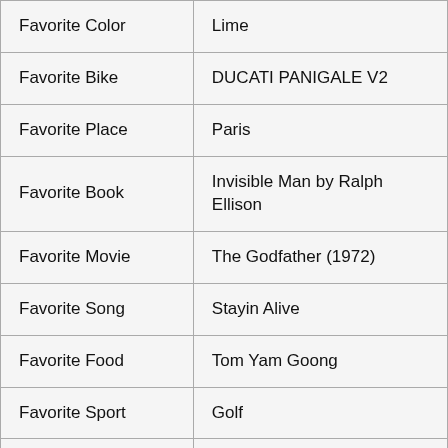| Favorite Color | Lime |
| Favorite Bike | DUCATI PANIGALE V2 |
| Favorite Place | Paris |
| Favorite Book | Invisible Man by Ralph Ellison |
| Favorite Movie | The Godfather (1972) |
| Favorite Song | Stayin Alive |
| Favorite Food | Tom Yam Goong |
| Favorite Sport | Golf |
| Favorite Perfume | Versace |